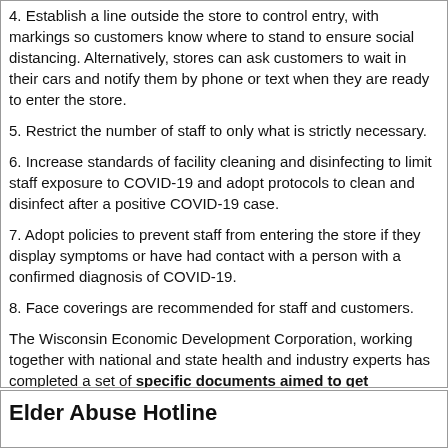4. Establish a line outside the store to control entry, with markings so customers know where to stand to ensure social distancing. Alternatively, stores can ask customers to wait in their cars and notify them by phone or text when they are ready to enter the store.
5. Restrict the number of staff to only what is strictly necessary.
6. Increase standards of facility cleaning and disinfecting to limit staff exposure to COVID-19 and adopt protocols to clean and disinfect after a positive COVID-19 case.
7. Adopt policies to prevent staff from entering the store if they display symptoms or have had contact with a person with a confirmed diagnosis of COVID-19.
8. Face coverings are recommended for staff and customers.
The Wisconsin Economic Development Corporation, working together with national and state health and industry experts has completed a set of specific documents aimed to get businesses ready to reopen while taking necessary safety precautions. On WEDC's website you can find the guidelines for all businesses, as well as industry specific guidelines.
Elder Abuse Hotline